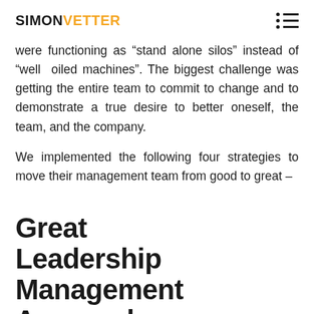SIMON VETTER
were functioning as “stand alone silos” instead of “well oiled machines”. The biggest challenge was getting the entire team to commit to change and to demonstrate a true desire to better oneself, the team, and the company.
We implemented the following four strategies to move their management team from good to great –
Great Leadership Management Approaches